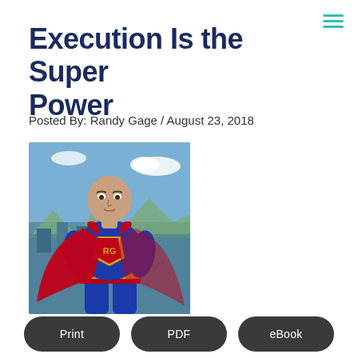Execution Is the Super Power
Posted By: Randy Gage / August 23, 2018
[Figure (photo): Man dressed as Superman with bald head, wearing blue and red superhero costume with 'RG' monogram on chest shield, red cape, standing in front of a cityscape and blue sky with clouds.]
Print
PDF
eBook